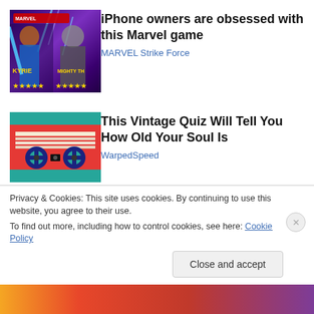[Figure (illustration): MARVEL Strike Force game promotional image showing Valkyrie and Mighty Thor characters with stars ratings, purple gradient background]
iPhone owners are obsessed with this Marvel game
MARVEL Strike Force
[Figure (photo): Vintage cassette tape image with teal/blue and orange colors]
This Vintage Quiz Will Tell You How Old Your Soul Is
WarpedSpeed
Privacy & Cookies: This site uses cookies. By continuing to use this website, you agree to their use.
To find out more, including how to control cookies, see here: Cookie Policy
Close and accept